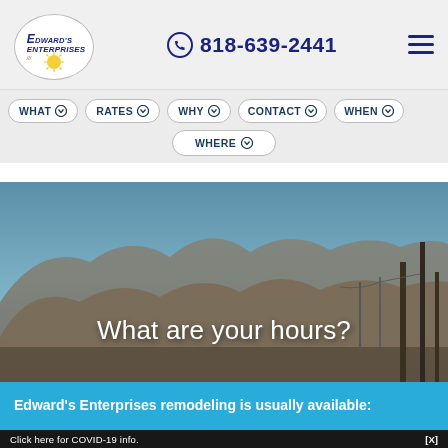Edward's Enterprises | 818-639-2441
WHAT
RATES
WHY
CONTACT
WHEN
WHERE
[Figure (photo): Mountain landscape with blue sky, brown rolling hills, pine trees on the right, and utility poles. Text overlay reads 'What are your hours?']
What are your hours?
Edward's Enterprises remodeling is usually available:
Click here for COVID-19 info.   [X]